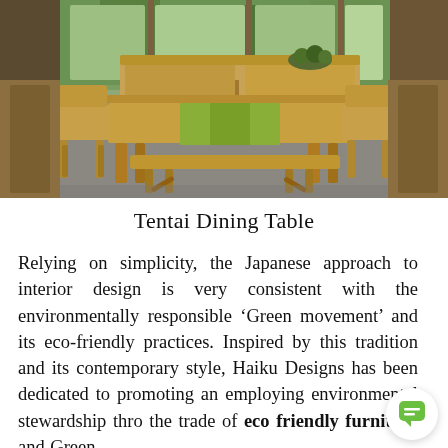[Figure (photo): A dining room scene with mid-century modern wooden furniture — a rectangular dining table, matching wooden chairs, a long bench, and a sideboard/buffet. The setting appears to be a room with large windows showing green trees outside. A green table runner is draped over the table with a bowl of fruit/vegetables as a centerpiece. The floor is polished concrete.]
Tentai Dining Table
Relying on simplicity, the Japanese approach to interior design is very consistent with the environmentally responsible 'Green movement' and its eco-friendly practices. Inspired by this tradition and its contemporary style, Haiku Designs has been dedicated to promoting and employing environmental stewardship through the trade of eco friendly furniture and Green